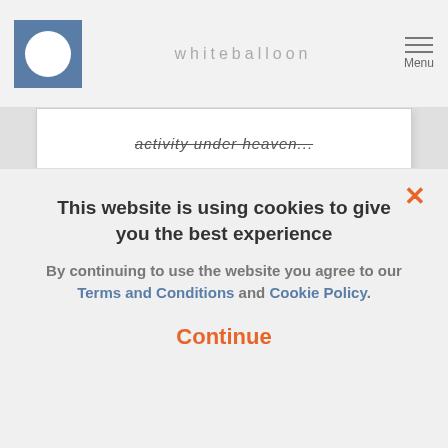whiteballoon
activity under heaven...
Read More
This website is using cookies to give you the best experience
By continuing to use the website you agree to our Terms and Conditions and Cookie Policy.
Continue